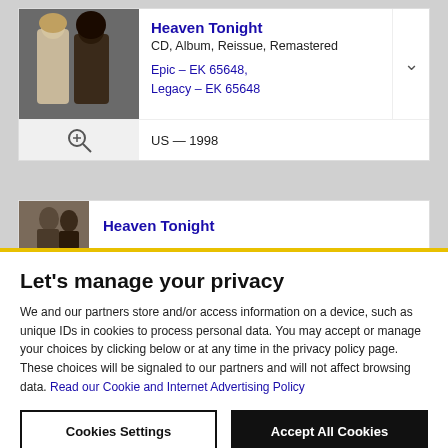[Figure (photo): Album cover photo showing two people, used as thumbnail for Heaven Tonight record listing]
Heaven Tonight
CD, Album, Reissue, Remastered
Epic – EK 65648,
Legacy – EK 65648
US — 1998
[Figure (photo): Partial album cover photo for second Heaven Tonight listing]
Heaven Tonight
Let's manage your privacy
We and our partners store and/or access information on a device, such as unique IDs in cookies to process personal data. You may accept or manage your choices by clicking below or at any time in the privacy policy page. These choices will be signaled to our partners and will not affect browsing data. Read our Cookie and Internet Advertising Policy
Cookies Settings
Accept All Cookies